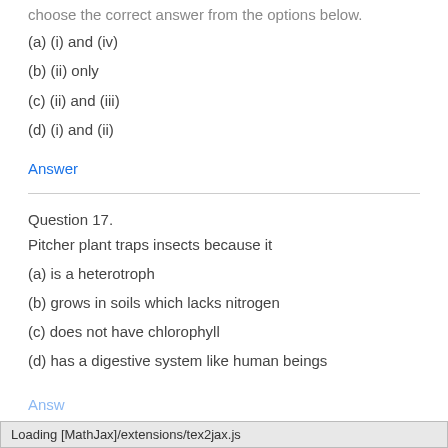choose the correct answer from the options below.
(a) (i) and (iv)
(b) (ii) only
(c) (ii) and (iii)
(d) (i) and (ii)
Answer
Question 17.
Pitcher plant traps insects because it
(a) is a heterotroph
(b) grows in soils which lacks nitrogen
(c) does not have chlorophyll
(d) has a digestive system like human beings
Answer
Loading [MathJax]/extensions/tex2jax.js